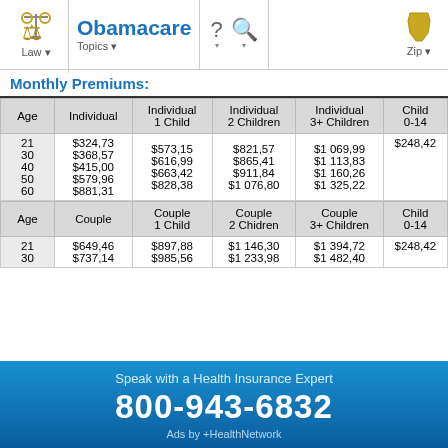Obamacare — Law, Topics, Zip navigation bar
Monthly Premiums:
| Age | Individual | Individual 1 Child | Individual 2 Children | Individual 3+ Children | Child 0-14 |
| --- | --- | --- | --- | --- | --- |
| 21 | $324,73 | $573,15 | $821,57 | $1 069,99 | $248,42 |
| 30 | $368,57 | $616,99 | $865,41 | $1 113,83 |  |
| 40 | $415,00 | $663,42 | $911,84 | $1 160,26 |  |
| 50 | $579,96 | $828,38 | $1 076,80 | $1 325,22 |  |
| 60 | $881,31 |  |  |  |  |
| Age | Couple | Couple 1 Child | Couple 2 Chidren | Couple 3+ Children | Child 0-14 |
| --- | --- | --- | --- | --- | --- |
| 21 | $649,46 | $897,88 | $1 146,30 | $1 394,72 | $248,42 |
| 30 | $737,14 | $985,56 | $1 233,98 | $1 482,40 |  |
Speak with a Health Insurance Expert
800-943-6832
Ads by +HealthNetwork